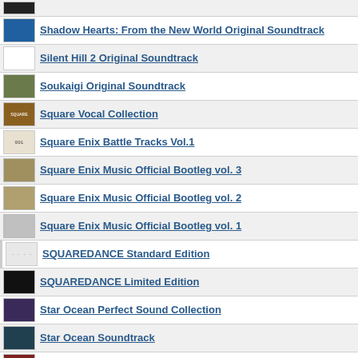Shadow Hearts: From the New World Original Soundtrack
Silent Hill 2 Original Soundtrack
Soukaigi Original Soundtrack
Square Vocal Collection
Square Enix Battle Tracks Vol.1
Square Enix Music Official Bootleg vol. 3
Square Enix Music Official Bootleg vol. 2
Square Enix Music Official Bootleg vol. 1
SQUAREDANCE Standard Edition
SQUAREDANCE Limited Edition
Star Ocean Perfect Sound Collection
Star Ocean Soundtrack
Star Ocean: the Second Story Fantasy Megamix
Star Ocean: The Second Story Arrange Album
Star Ocean: the Second Story Original Soundtrack
Star Ocean: Till the End of Time Arrange Album